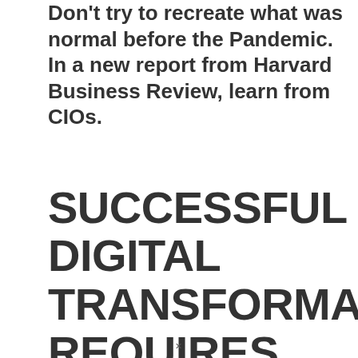Don't try to recreate what was normal before the Pandemic. In a new report from Harvard Business Review, learn from CIOs.
SUCCESSFUL DIGITAL TRANSFORMATION REQUIRES SUCCESSFUL CHANGE